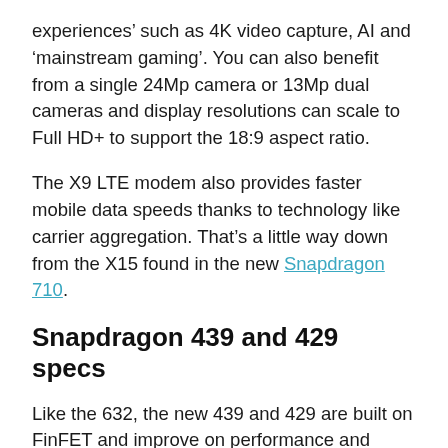experiences’ such as 4K video capture, AI and ‘mainstream gaming’. You can also benefit from a single 24Mp camera or 13Mp dual cameras and display resolutions can scale to Full HD+ to support the 18:9 aspect ratio.
The X9 LTE modem also provides faster mobile data speeds thanks to technology like carrier aggregation. That’s a little way down from the X15 found in the new Snapdragon 710.
Snapdragon 439 and 429 specs
Like the 632, the new 439 and 429 are built on FinFET and improve on performance and power efficiency by up to 25 percent. That’s compared to the 430 and 425, respectively.